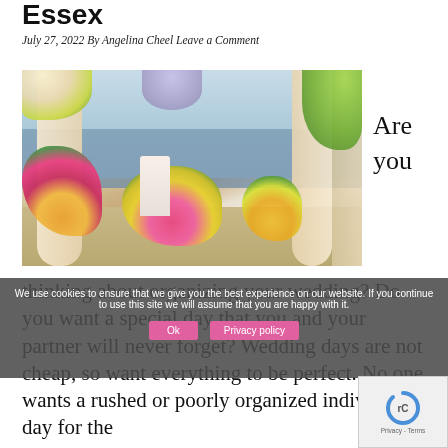Essex
July 27, 2022 By Angelina Cheel Leave a Comment
[Figure (photo): A wedding venue setup on a beach with floral arrangements, a wedding cake, flowing cream drapes, chandeliers, and a view of the sea in the background.]
Are you
thinking about organizing your wedding? Do you want a special day that you and your partner will never forget? Wedding days are not cheap, so want everything to be perfect. No one wants a rushed or poorly organized individual day for the
We use cookies to ensure that we give you the best experience on our website. If you continue to use this site we will assume that you are happy with it.
Ok
Privacy policy